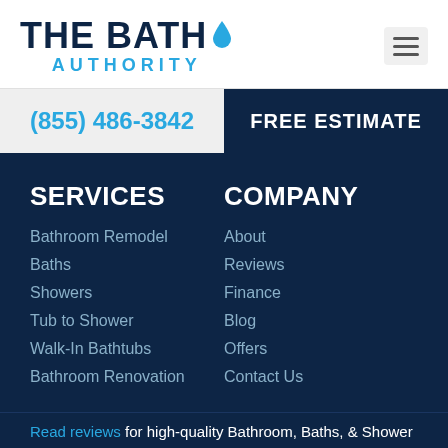[Figure (logo): The Bath Authority logo with water drop icon and blue AUTHORITY text below]
(855) 486-3842
FREE ESTIMATE
SERVICES
Bathroom Remodel
Baths
Showers
Tub to Shower
Walk-In Bathtubs
Bathroom Renovation
COMPANY
About
Reviews
Finance
Blog
Offers
Contact Us
Read reviews for high-quality Bathroom, Baths, & Shower